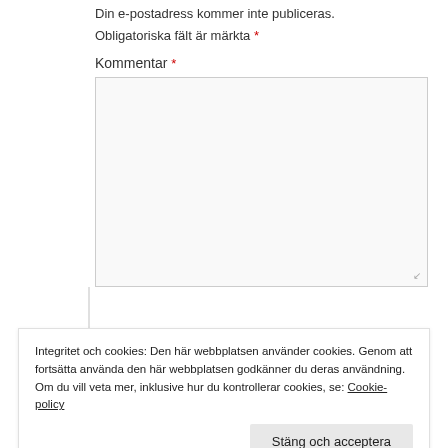Din e-postadress kommer inte publiceras.
Obligatoriska fält är märkta *
Kommentar *
[Figure (screenshot): Large textarea input field for comment, with resize handle at bottom-right]
Integritet och cookies: Den här webbplatsen använder cookies. Genom att fortsätta använda den här webbplatsen godkänner du deras användning. Om du vill veta mer, inklusive hur du kontrollerar cookies, se: Cookie-policy
Stäng och acceptera
E-postadress *